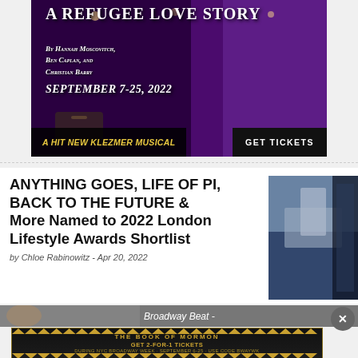[Figure (photo): Theater advertisement for a Klezmer musical - A Refugee Love Story. Shows a performer with curly red hair and beard holding a microphone, wearing a purple jacket. Text: 'A Refugee Love Story', 'By Hannah Moscovitch, Ben Caplan, and Christian Barry', 'September 7-25, 2022', 'A Hit New Klezmer Musical', 'GET TICKETS']
ANYTHING GOES, LIFE OF PI, BACK TO THE FUTURE & More Named to 2022 London Lifestyle Awards Shortlist
by Chloe Rabinowitz - Apr 20, 2022
[Figure (photo): Theatrical performance photo showing stage scene, partly visible on the right side of the article]
[Figure (photo): Broadway Beat strip with partial face photo visible]
Broadway Beat -
[Figure (advertisement): The Book of Mormon advertisement: GET 2-FOR-1 TICKETS during NYC Broadway Week, September 6-25, Use Code BWAYWK, GET TICKETS. Gold and black decorative design with starburst pattern.]